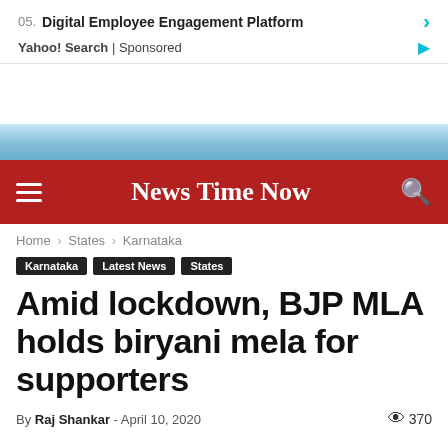[Figure (screenshot): Advertisement: 05. Digital Employee Engagement Platform with arrow, Yahoo! Search | Sponsored]
[Figure (photo): Sky and clouds blue band]
News Time Now
Home › States › Karnataka
Karnataka  Latest News  States
Amid lockdown, BJP MLA holds biryani mela for supporters
By Raj Shankar - April 10, 2020  370